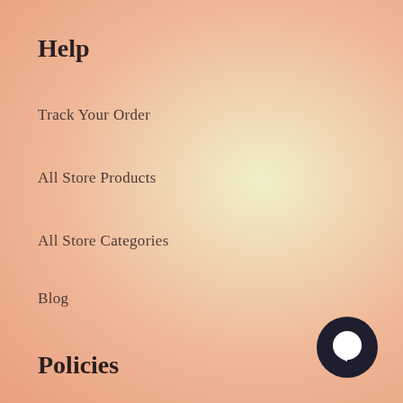Help
Track Your Order
All Store Products
All Store Categories
Blog
Policies
Terms of Service
Privacy Policy
Refund Policy
[Figure (illustration): Dark circular chat bubble icon in bottom-right corner]